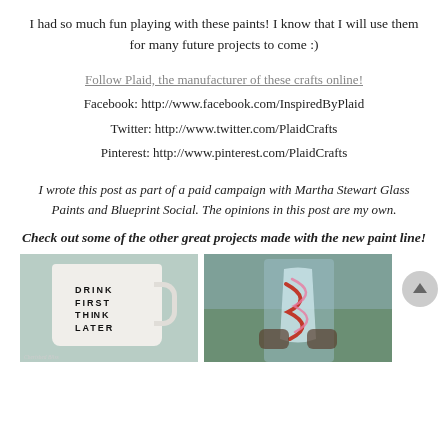I had so much fun playing with these paints! I know that I will use them for many future projects to come :)
Follow Plaid, the manufacturer of these crafts online!
Facebook: http://www.facebook.com/InspiredByPlaid
Twitter: http://www.twitter.com/PlaidCrafts
Pinterest: http://www.pinterest.com/PlaidCrafts
I wrote this post as part of a paid campaign with Martha Stewart Glass Paints and Blueprint Social. The opinions in this post are my own.
Check out some of the other great projects made with the new paint line!
[Figure (photo): A white ceramic mug with text DRINK FIRST THINK LATER printed on it, sitting on a surface]
[Figure (photo): A glass vase with colorful painted swirls (red, pink), held outdoors with green background]